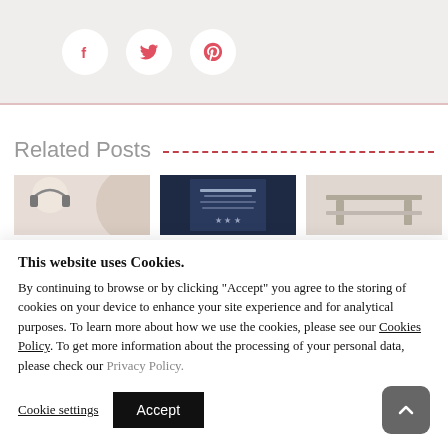[Figure (other): Social share bar with Facebook (f), Twitter (bird), and Pinterest (P) icons in circular white buttons on a light beige background]
Related Posts
[Figure (photo): Three partially visible thumbnail images in a row: first shows a light background with a partial circular object, second shows a dark book cover, third shows a light colored furniture or shelving]
This website uses Cookies. By continuing to browse or by clicking "Accept" you agree to the storing of cookies on your device to enhance your site experience and for analytical purposes. To learn more about how we use the cookies, please see our Cookies Policy. To get more information about the processing of your personal data, please check our Privacy Policy.
Cookie settings | Accept